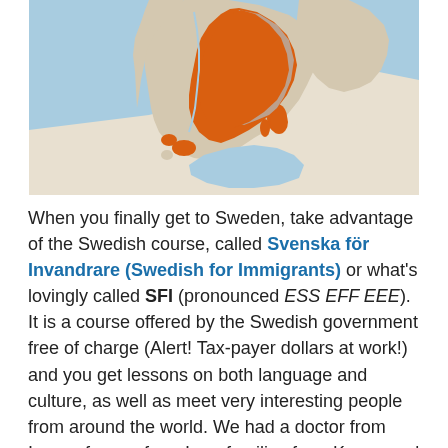[Figure (map): Map of Scandinavia with Sweden highlighted in orange, surrounded by light blue sea areas and neighboring countries in light beige/gray]
When you finally get to Sweden, take advantage of the Swedish course, called Svenska för Invandrare (Swedish for Immigrants) or what's lovingly called SFI (pronounced ESS EFF EEE). It is a course offered by the Swedish government free of charge (Alert! Tax-payer dollars at work!) and you get lessons on both language and culture, as well as meet very interesting people from around the world. We had a doctor from Iraq, refugees from Iran, families from Kenya and Thailand and partners from the Philippines, France and yes, the U.S. The course not only taught me Swedish, but how it feels to be an immigrant in a foreign land. That was actually very new to me, as I grew